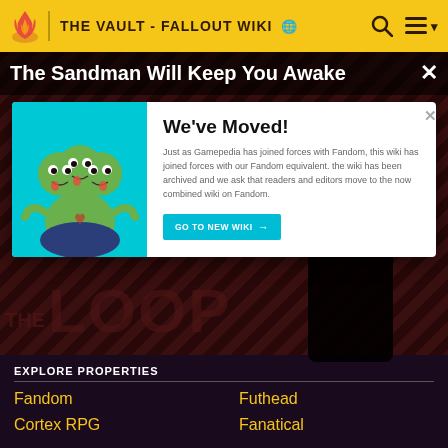THE VAULT - FALLOUT WIKI
The Sandman Will Keep You Awake
[Figure (screenshot): Modal popup with 'We've Moved!' message over a video thumbnail showing The Loop branding. Left side has teal background with cartoon alien creatures illustration. Right side has heading 'We've Moved!', body text about Gamepedia joining Fandom, and a teal 'GO TO NEW WIKI' button.]
The Sandman Will Keep You Awake - The Loop 01:40
EXPLORE PROPERTIES
Fandom
Futhead
Cortex RPG
Fanatical